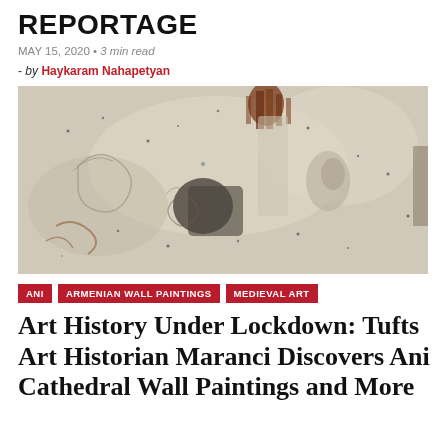REPORTAGE
MAY 15, 2020 • 3 min read
- by Haykaram Nahapetyan
[Figure (photo): Close-up photograph of aged, deteriorated wall painting fragments showing faint figural outlines on a pale, mottled stone or plaster surface with dark spots and rust-colored stains.]
ANI   ARMENIAN WALL PAINTINGS   MEDIEVAL ART
Art History Under Lockdown: Tufts Art Historian Maranci Discovers Ani Cathedral Wall Paintings and More